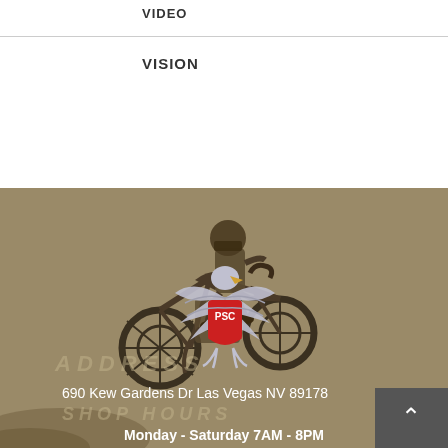VIDEO
VISION
[Figure (photo): Motocross rider performing a trick in the air with a PSC eagle logo overlaid on a sepia-toned background]
ADDRESS
690 Kew Gardens Dr Las Vegas NV 89178
SHOP HOURS
Monday - Saturday 7AM - 8PM